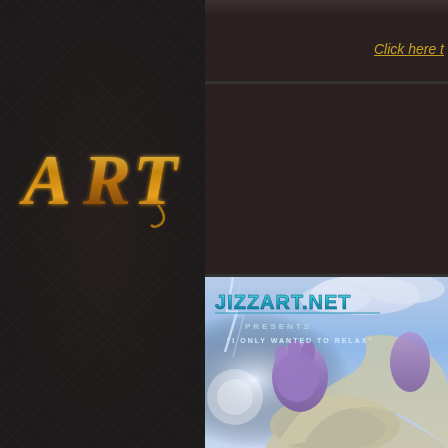[Figure (screenshot): Dark website layout with textured dark left sidebar and content area on right. Top area shows a strip with 'Click here' link in gold/yellow italic text. Center left shows stylized gold 'ART' text logo. Bottom right shows a digital illustration from jizzart.net with teal logo text 'JIZZART.NET PRESENTS' and subtitle '"I ONLY WANTED TO RELAX"' over a sky scene with purple and grey creature hands/tentacles.]
Click here t
AR T
[Figure (illustration): Digital artwork showing JIZZART.NET PRESENTS header in teal metallic font, subtitle 'I ONLY WANTED TO RELAX' in white, over a blue sky background with lightning, featuring purple and grey creature limbs/tentacles intertwined.]